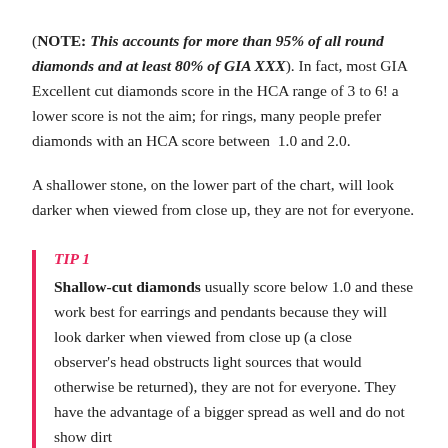(NOTE: This accounts for more than 95% of all round diamonds and at least 80% of GIA XXX). In fact, most GIA Excellent cut diamonds score in the HCA range of 3 to 6! a lower score is not the aim; for rings, many people prefer diamonds with an HCA score between 1.0 and 2.0.
A shallower stone, on the lower part of the chart, will look darker when viewed from close up, they are not for everyone.
TIP 1
Shallow-cut diamonds usually score below 1.0 and these work best for earrings and pendants because they will look darker when viewed from close up (a close observer's head obstructs light sources that would otherwise be returned), they are not for everyone. They have the advantage of a bigger spread as well and do not show dirt